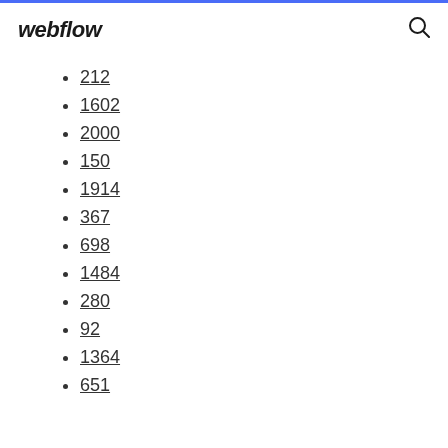webflow
212
1602
2000
150
1914
367
698
1484
280
92
1364
651